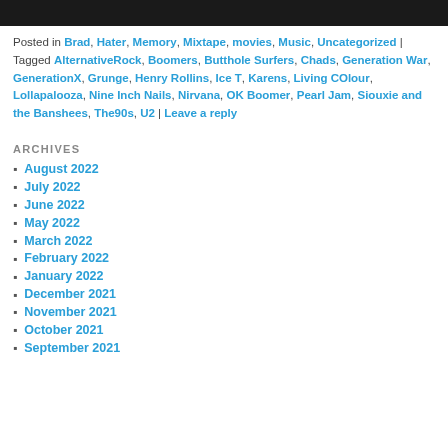[Figure (photo): Top portion of a black and white photo, cropped at page top]
Posted in Brad, Hater, Memory, Mixtape, movies, Music, Uncategorized | Tagged AlternativeRock, Boomers, Butthole Surfers, Chads, Generation War, GenerationX, Grunge, Henry Rollins, Ice T, Karens, Living COlour, Lollapalooza, Nine Inch Nails, Nirvana, OK Boomer, Pearl Jam, Siouxie and the Banshees, The90s, U2 | Leave a reply
ARCHIVES
August 2022
July 2022
June 2022
May 2022
March 2022
February 2022
January 2022
December 2021
November 2021
October 2021
September 2021